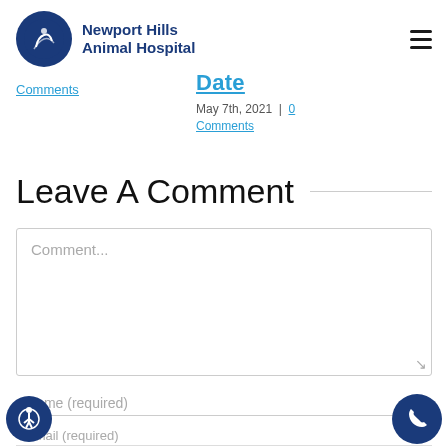Newport Hills Animal Hospital
Comments
Date | May 7th, 2021 | 0 Comments
Leave A Comment
Comment...
Name (required)
Email (required)